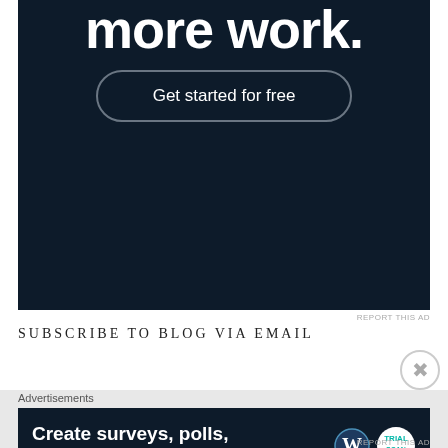[Figure (screenshot): Dark navy advertisement banner showing 'more work.' text and a 'Get started for free' rounded button on dark background]
REPORT THIS AD
SUBSCRIBE TO BLOG VIA EMAIL
Advertisements
[Figure (screenshot): Dark navy advertisement banner reading 'Create surveys, polls, quizzes, and forms.' with WordPress and SurveyMonkey logos on right side]